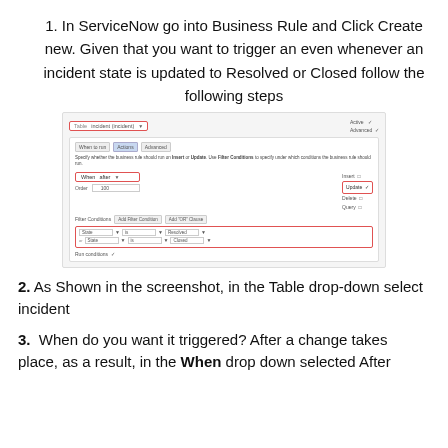1. In ServiceNow go into Business Rule and Click Create new. Given that you want to trigger an even whenever an incident state is updated to Resolved or Closed follow the following steps
[Figure (screenshot): ServiceNow Business Rule configuration screenshot showing Table dropdown set to 'Incident (incident)', Active and Advanced checkboxes checked, When/Advanced tab with 'When: after', Update checkbox selected, Filter Conditions with State is Resolved or State is Closed rows]
2. As Shown in the screenshot, in the Table drop-down select incident
3. When do you want it triggered? After a change takes place, as a result, in the When drop down selected After